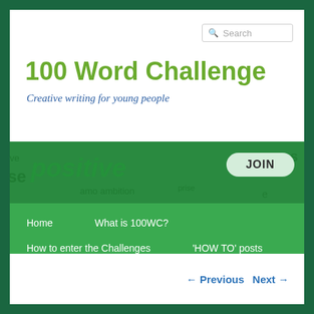Search
100 Word Challenge
Creative writing for young people
[Figure (infographic): Green banner with word art background showing words like 'positive', 'mess', 'ise', 'prise', and a JOIN button on the right]
Home
What is 100WC?
How to enter the Challenges
'HOW TO' posts
Special Showcase
Join Team 100WC
← Previous   Next →